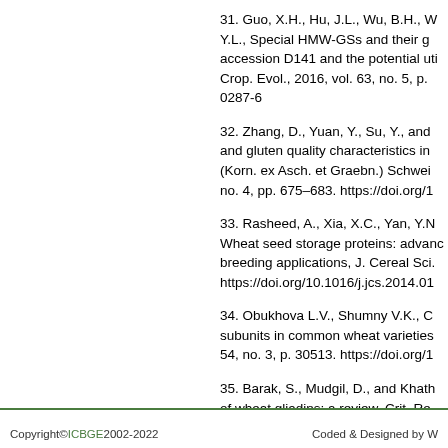31. Guo, X.H., Hu, J.L., Wu, B.H., W Y.L., Special HMW-GSs and their g accession D141 and the potential uti Crop. Evol., 2016, vol. 63, no. 5, p. 0287-6
32. Zhang, D., Yuan, Y., Su, Y., and and gluten quality characteristics in (Korn. ex Asch. et Graebn.) Schwei no. 4, pp. 675–683. https://doi.org/1
33. Rasheed, A., Xia, X.C., Yan, Y.N Wheat seed storage proteins: advanc breeding applications, J. Cereal Sci. https://doi.org/10.1016/j.jcs.2014.01
34. Obukhova L.V., Shumny V.K., C subunits in common wheat varieties 54, no. 3, p. 30513. https://doi.org/1
35. Barak, S., Mudgil, D., and Khath of wheat gliadins: a review, Crit. Re 357–368. https://doi.org/10.1080/10
Copyright© ICBGE 2002-2022        Coded & Designed by W